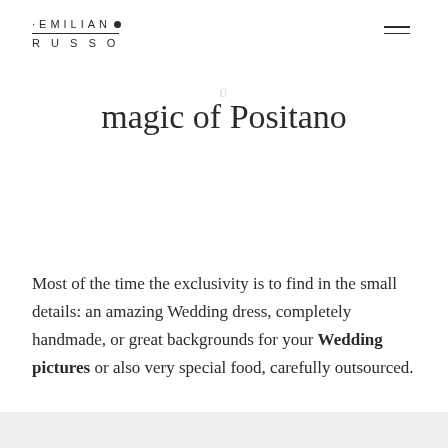EMILIANO RUSSO
magic of Positano
Most of the time the exclusivity is to find in the small details: an amazing Wedding dress, completely handmade, or great backgrounds for your Wedding pictures or also very special food, carefully outsourced.